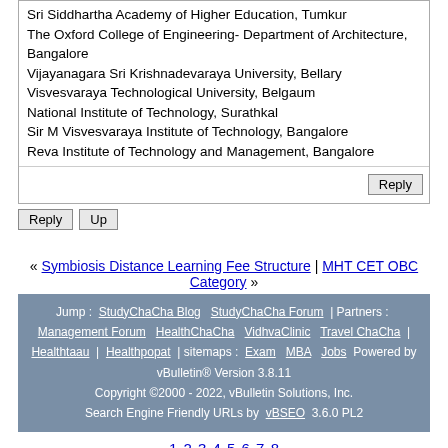Sri Siddhartha Academy of Higher Education, Tumkur
The Oxford College of Engineering- Department of Architecture, Bangalore
Vijayanagara Sri Krishnadevaraya University, Bellary
Visvesvaraya Technological University, Belgaum
National Institute of Technology, Surathkal
Sir M Visvesvaraya Institute of Technology, Bangalore
Reva Institute of Technology and Management, Bangalore
Reply
Reply  Up
« Symbiosis Distance Learning Fee Structure | MHT CET OBC Category »
Jump : StudyChaCha Blog  StudyChaCha Forum | Partners : Management Forum  HealthChaCha  VidhvaClinic  Travel ChaCha | Healthtaau | Healthpopat | sitemaps : Exam  MBA  Jobs Powered by vBulletin® Version 3.8.11
Copyright ©2000 - 2022, vBulletin Solutions, Inc.
Search Engine Friendly URLs by vBSEO 3.6.0 PL2
1 2 3 4 5 6 7 8